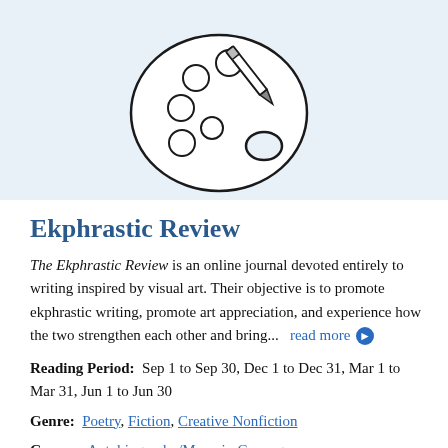[Figure (illustration): A hand-drawn style artist palette with paint wells and a pencil/brush resting on it, outlined in black on a light blue background.]
Ekphrastic Review
The Ekphrastic Review is an online journal devoted entirely to writing inspired by visual art. Their objective is to promote ekphrastic writing, promote art appreciation, and experience how the two strengthen each other and bring...  read more ➔
Reading Period:  Sep 1 to Sep 30, Dec 1 to Dec 31, Mar 1 to Mar 31, Jun 1 to Jun 30
Genre:  Poetry, Fiction, Creative Nonfiction
Genres:  Autobiography/Memoir, Cross-genre,